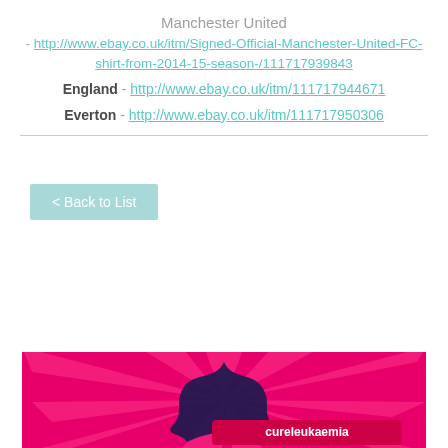Manchester United
- http://www.ebay.co.uk/itm/Signed-Official-Manchester-United-FC-shirt-from-2014-15-season-/111717939843
England - http://www.ebay.co.uk/itm/111717944671
Everton - http://www.ebay.co.uk/itm/111717950306
< Back to List
[Figure (illustration): Cure Leukaemia charity banner with pink starburst background and logo]